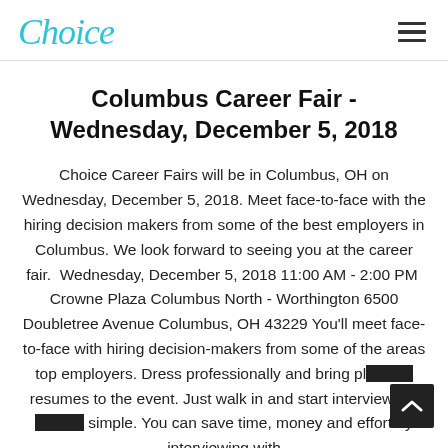Choice [logo] [hamburger menu]
Columbus Career Fair - Wednesday, December 5, 2018
Choice Career Fairs will be in Columbus, OH on Wednesday, December 5, 2018. Meet face-to-face with the hiring decision makers from some of the best employers in Columbus. We look forward to seeing you at the career fair.  Wednesday, December 5, 2018 11:00 AM - 2:00 PM  Crowne Plaza Columbus North - Worthington 6500 Doubletree Avenue Columbus, OH 43229 You'll meet face-to-face with hiring decision-makers from some of the areas top employers. Dress professionally and bring plenty of resumes to the event. Just walk in and start interviewing, it's that simple. You can save time, money and effort by interviewing with